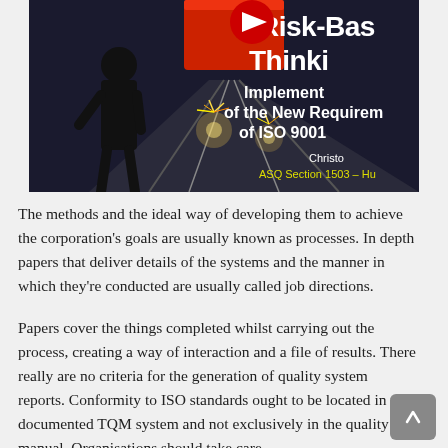[Figure (photo): Book cover or video thumbnail showing a person in dark clothing standing near railway tracks with sparks flying, overlaid text reading 'Risk-Based Thinking: Implementing of the New Requirements of ISO 9001', with attribution to 'Christo' and 'ASQ Section 1503 – Hu...']
The methods and the ideal way of developing them to achieve the corporation's goals are usually known as processes. In depth papers that deliver details of the systems and the manner in which they're conducted are usually called job directions.
Papers cover the things completed whilst carrying out the process, creating a way of interaction and a file of results. There really are no criteria for the generation of quality system reports. Conformity to ISO standards ought to be located in the documented TQM system and not exclusively in the quality manual. Organisations should take care